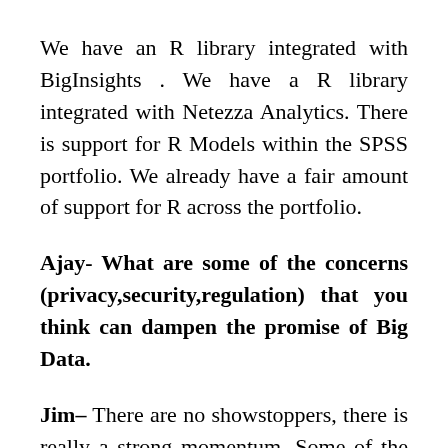We have an R library integrated with BigInsights . We have a R library integrated with Netezza Analytics. There is support for R Models within the SPSS portfolio. We already have a fair amount of support for R across the portfolio.
Ajay- What are some of the concerns (privacy,security,regulation) that you think can dampen the promise of Big Data.
Jim- There are no showstoppers, there is really a strong momentum. Some of the concerns within the Hadoop space are immaturity of the technology, the immaturity of some of the